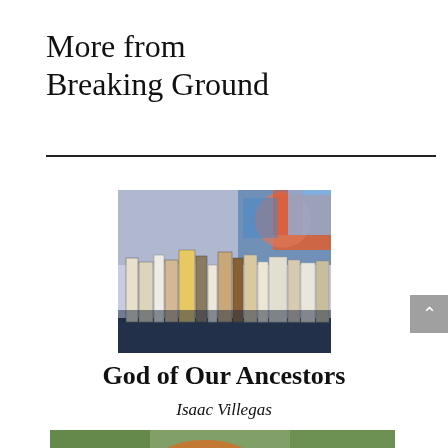More from Breaking Ground
[Figure (photo): A row of books standing upright, spines facing forward, with a blurred colorful background]
God of Our Ancestors
Isaac Villegas
[Figure (photo): Partial view of a second article image at bottom of page, showing a blurred scene with green and orange tones]